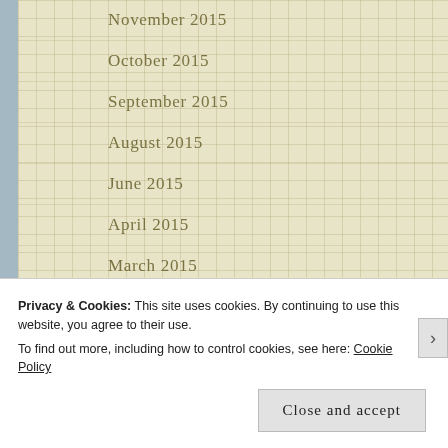November 2015
October 2015
September 2015
August 2015
June 2015
April 2015
March 2015
February 2015
January 2015
Privacy & Cookies: This site uses cookies. By continuing to use this website, you agree to their use.
To find out more, including how to control cookies, see here: Cookie Policy
Close and accept